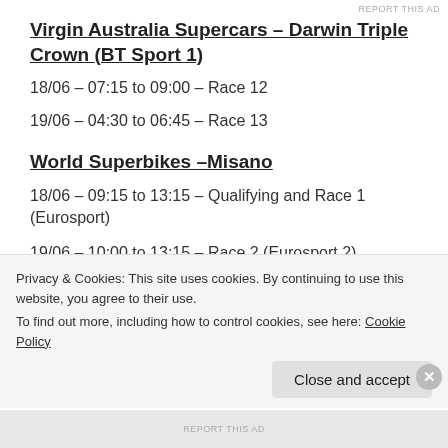REPORT THIS AD
Virgin Australia Supercars – Darwin Triple Crown (BT Sport 1)
18/06 – 07:15 to 09:00 – Race 12
19/06 – 04:30 to 06:45 – Race 13
World Superbikes –Misano
18/06 – 09:15 to 13:15 – Qualifying and Race 1 (Eurosport)
19/06 – 10:00 to 13:15 – Race 2 (Eurosport 2)
Last updated on June 18th, to reflect Sky Sports 1 also
Privacy & Cookies: This site uses cookies. By continuing to use this website, you agree to their use.
To find out more, including how to control cookies, see here: Cookie Policy
Close and accept